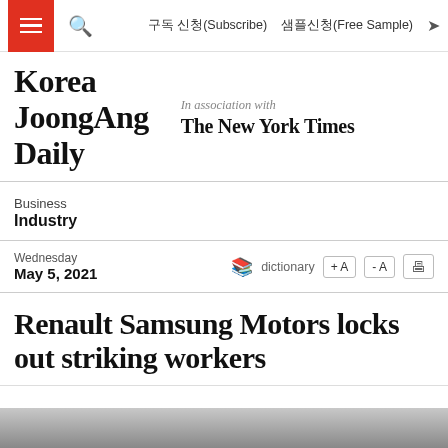구독 신청(Subscribe)  샘플신청(Free Sample)
[Figure (logo): Korea JoongAng Daily logo with 'In association with The New York Times']
Business
Industry
Wednesday
May 5, 2021
Renault Samsung Motors locks out striking workers
[Figure (photo): Partial photograph at the bottom of the page, mostly gray/dark tones]